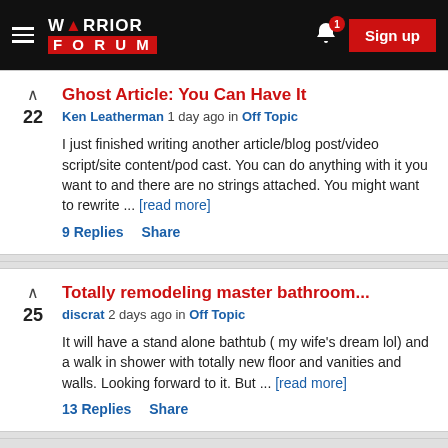Warrior Forum — Sign up
Ghost Article: You Can Have It
Ken Leatherman 1 day ago in Off Topic
I just finished writing another article/blog post/video script/site content/pod cast. You can do anything with it you want to and there are no strings attached. You might want to rewrite ... [read more]
9 Replies  Share
Totally remodeling master bathroom...
discrat 2 days ago in Off Topic
It will have a stand alone bathtub ( my wife's dream lol) and a walk in shower with totally new floor and vanities and walls. Looking forward to it. But ... [read more]
13 Replies  Share